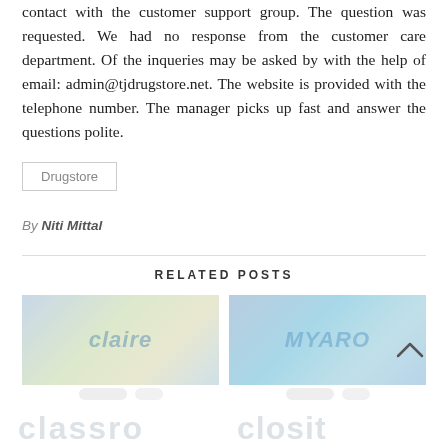contact with the customer support group. The question was requested. We had no response from the customer care department. Of the inqueries may be asked by with the help of email: admin@tjdrugstore.net. The website is provided with the telephone number. The manager picks up fast and answer the questions polite.
Drugstore
By Niti Mittal
RELATED POSTS
[Figure (photo): Blurred thumbnail image on the left side under Related Posts]
[Figure (photo): Blurred thumbnail image on the right side under Related Posts]